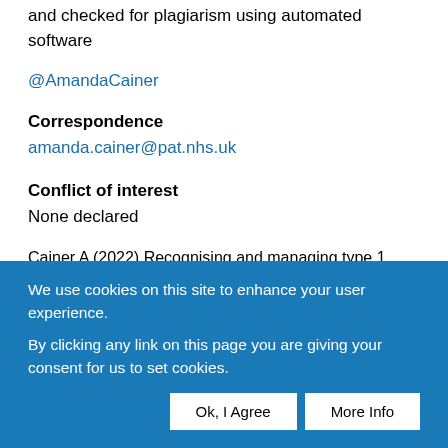and checked for plagiarism using automated software
@AmandaCainer
Correspondence
amanda.cainer@pat.nhs.uk
Conflict of interest
None declared
Cainer A (2022) Recognising and managing type 1
We use cookies on this site to enhance your user experience.

By clicking any link on this page you are giving your consent for us to set cookies.